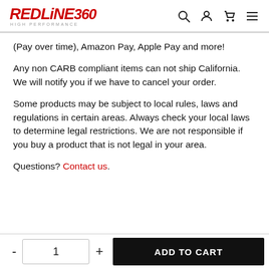REDLINE360 HIGH PERFORMANCE
(Pay over time), Amazon Pay, Apple Pay and more!
Any non CARB compliant items can not ship California. We will notify you if we have to cancel your order.
Some products may be subject to local rules, laws and regulations in certain areas. Always check your local laws to determine legal restrictions. We are not responsible if you buy a product that is not legal in your area.
Questions? Contact us.